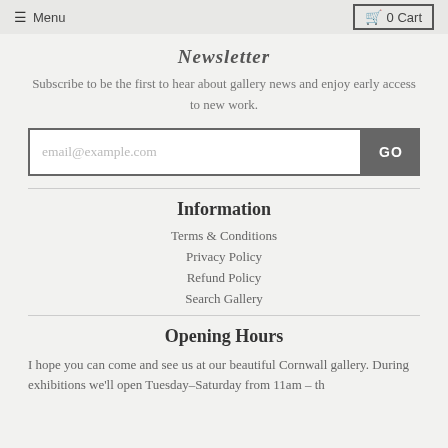Menu   0 Cart
Newsletter
Subscribe to be the first to hear about gallery news and enjoy early access to new work.
email@example.com   GO
Information
Terms & Conditions
Privacy Policy
Refund Policy
Search Gallery
Opening Hours
I hope you can come and see us at our beautiful Cornwall gallery. During exhibitions we'll open Tuesday–Saturday from 11am – th